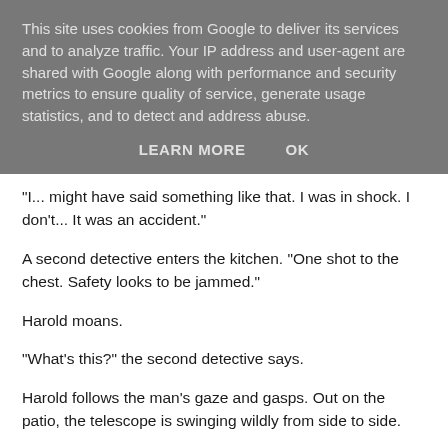This site uses cookies from Google to deliver its services and to analyze traffic. Your IP address and user-agent are shared with Google along with performance and security metrics to ensure quality of service, generate usage statistics, and to detect and address abuse.
LEARN MORE    OK
"I... might have said something like that. I was in shock. I don't... It was an accident."
A second detective enters the kitchen. "One shot to the chest. Safety looks to be jammed."
Harold moans.
"What's this?" the second detective says.
Harold follows the man's gaze and gasps. Out on the patio, the telescope is swinging wildly from side to side.